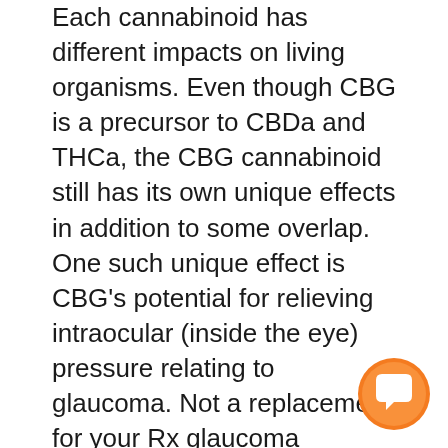Each cannabinoid has different impacts on living organisms. Even though CBG is a precursor to CBDa and THCa, the CBG cannabinoid still has its own unique effects in addition to some overlap. One such unique effect is CBG’s potential for relieving intraocular (inside the eye) pressure relating to glaucoma. Not a replacement for your Rx glaucoma medication, but an extra help that is organic and natural through CBG. THC does have a similar benefit, but with CBG you can have the benefit without the psychoactive effect of getting “high”.
CBG has been shown to possibly reduce anxiety, provide muscle tension relief, and a sense of peace and calm throughout the body and brain. It achieves this by obstructing GABA uptake. You learn more about GABA synthesis and its impact on anxiety, stress, and depression here. Several studies have reported this from the 1970s and...
[Figure (illustration): Orange and white chat bubble/support widget icon in the bottom-right corner of the page]